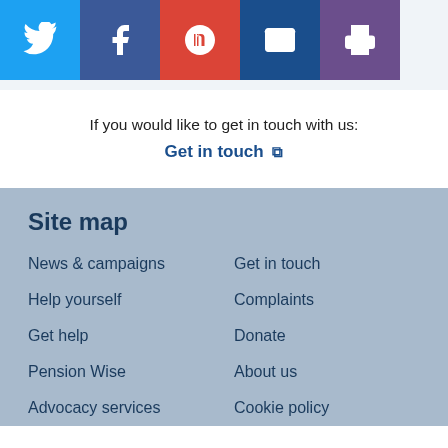[Figure (other): Social media share/action buttons: Twitter (blue), Facebook (dark blue), Google+ (red), Email (dark blue), Print (purple)]
If you would like to get in touch with us:
Get in touch [external link]
Site map
News & campaigns
Get in touch
Help yourself
Complaints
Get help
Donate
Pension Wise
About us
Advocacy services
Cookie policy